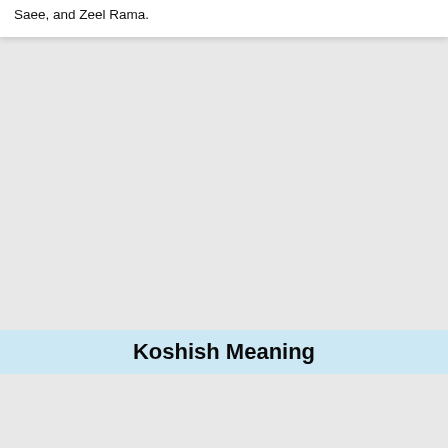Saee, and Zeel Rama.
Koshish Meaning